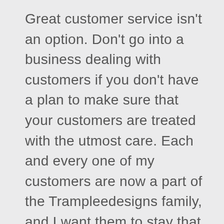Great customer service isn't an option. Don't go into a business dealing with customers if you don't have a plan to make sure that your customers are treated with the utmost care. Each and every one of my customers are now a part of the Trampleedesigns family, and I want them to stay that way for life.